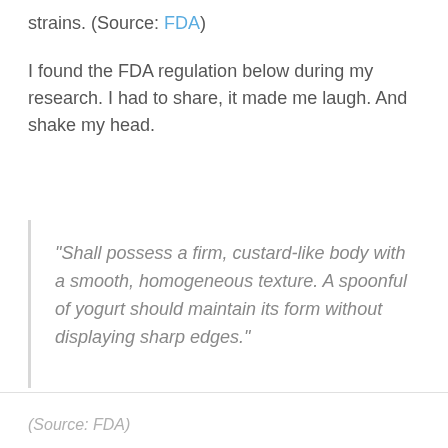strains. (Source: FDA)
I found the FDA regulation below during my research. I had to share, it made me laugh. And shake my head.
“Shall possess a firm, custard-like body with a smooth, homogeneous texture. A spoonful of yogurt should maintain its form without displaying sharp edges.”
(Source: FDA)